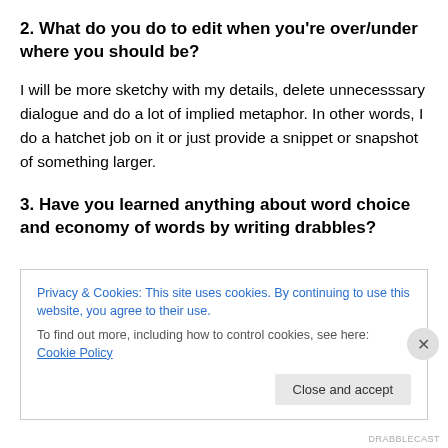2. What do you do to edit when you're over/under where you should be?
I will be more sketchy with my details, delete unnecesssary dialogue and do a lot of implied metaphor. In other words, I do a hatchet job on it or just provide a snippet or snapshot of something larger.
3. Have you learned anything about word choice and economy of words by writing drabbles?
Privacy & Cookies: This site uses cookies. By continuing to use this website, you agree to their use.
To find out more, including how to control cookies, see here: Cookie Policy
Close and accept